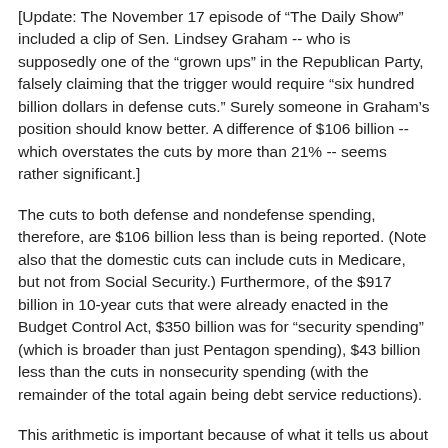[Update: The November 17 episode of "The Daily Show" included a clip of Sen. Lindsey Graham -- who is supposedly one of the "grown ups" in the Republican Party, falsely claiming that the trigger would require "six hundred billion dollars in defense cuts." Surely someone in Graham's position should know better. A difference of $106 billion -- which overstates the cuts by more than 21% -- seems rather significant.]
The cuts to both defense and nondefense spending, therefore, are $106 billion less than is being reported. (Note also that the domestic cuts can include cuts in Medicare, but not from Social Security.) Furthermore, of the $917 billion in 10-year cuts that were already enacted in the Budget Control Act, $350 billion was for "security spending" (which is broader than just Pentagon spending), $43 billion less than the cuts in nonsecurity spending (with the remainder of the total again being debt service reductions).
This arithmetic is important because of what it tells us about the politics of defense spending in the United States. Some Republicans in Congress have proposed eliminating the